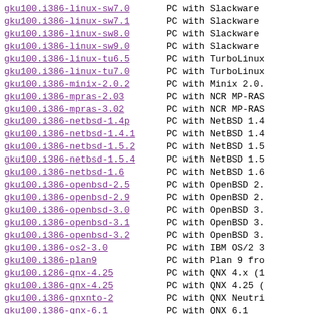gku100.i386-linux-sw7.0    PC with Slackware
gku100.i386-linux-sw7.1    PC with Slackware
gku100.i386-linux-sw8.0    PC with Slackware
gku100.i386-linux-sw9.0    PC with Slackware
gku100.i386-linux-tu6.5    PC with TurboLinux
gku100.i386-linux-tu7.0    PC with TurboLinux
gku100.i386-minix-2.0.2    PC with Minix 2.0.
gku100.i386-mpras-2.03     PC with NCR MP-RAS
gku100.i386-mpras-3.02     PC with NCR MP-RAS
gku100.i386-netbsd-1.4p    PC with NetBSD 1.4
gku100.i386-netbsd-1.4.1   PC with NetBSD 1.4
gku100.i386-netbsd-1.5.2   PC with NetBSD 1.5
gku100.i386-netbsd-1.5.4   PC with NetBSD 1.5
gku100.i386-netbsd-1.6     PC with NetBSD 1.6
gku100.i386-openbsd-2.5    PC with OpenBSD 2.
gku100.i386-openbsd-2.9    PC with OpenBSD 2.
gku100.i386-openbsd-3.0    PC with OpenBSD 3.
gku100.i386-openbsd-3.1    PC with OpenBSD 3.
gku100.i386-openbsd-3.2    PC with OpenBSD 3.
gku100.i386-os2-3.0        PC with IBM OS/2 3
gku100.i386-plan9          PC with Plan 9 fro
gku100.i286-qnx-4.25       PC with QNX 4.x (1
gku100.i386-qnx-4.25       PC with QNX 4.25 (
gku100.i386-qnxnto-2       PC with QNX Neutri
gku100.i386-qnx-6.1        PC with QNX 6.1
gku100.i386-qnx-6.21       PC with QNX 6.21B
gku100.i386-scoxenix-2.3.4 PC with SCO XENIX
gku100.i386-scounix-3.2v4.2 PC with SCO UNIX 3
gku100.i386-scoodt-3.0     PC with SCO ODT 3.
gku100.i386-scoosr5-5.0.2  PC with SCO OSR5.0